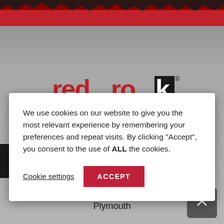[Figure (screenshot): Red torn/jagged band at the top of the page over a dark red background]
[Figure (logo): Redrok logo in red and black, partially visible behind the cookie consent modal]
We use cookies on our website to give you the most relevant experience by remembering your preferences and repeat visits. By clicking “Accept”, you consent to the use of ALL the cookies.
Cookie settings
ACCEPT
Unit 1 Sisna Park,
Estover,
Plymouth
PL6 7AE
Call Us: (01752) 69 51 51
Email Us: info@redrok.co.uk